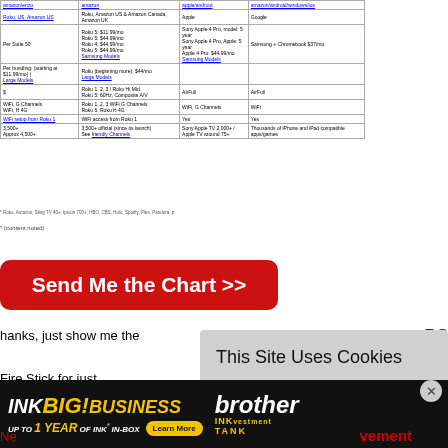|  |  |  |  |
| --- | --- | --- | --- |
| amazon/enzo | amazon | apple/android | amazon/android/windows/ios |
| Roku, US, Amazon US | Roku, Amazon US & Amazon Canada, Amazon UK | Apple | Google |
| Per Suite 50 | Roku 5: $11.99/mo | Sony Apple 4 Pro model: 5 year / Sony Apple 4 Pro, Apple: 5 year / Apple 4 Pro: $44.99/mo / Samsung Models | Samsung + Chromebook $37/mo |
| Per Month 5/4 Mo | Roku 5: $44.99/mo |  |  |
| Per month with access (coming) | Roku 4: $44.99/mo |  |  |
| Per bundling: (starting at $11.99/mo) | Large Models | Roku (beginning more): $44/mo | Large Models |  |  |
| $ | Roku 1, 2, 3 / Roku Hi Mid | AirFull | AirFull |
|  | Roku 5: 60Hz, Composite A/V |  |  |
| WiFi, G Channels WiFi, H 4G | Roku 1, 2, 3 WiFi G Channels / Roku 5, Roku H 4G | WiFi, G Channels | WiFi |
| WiFi setup from Roku 1 | Yes | Yes |
| 3,500+ / Approx 4,500+ | 3,500+ official (since its launch) | See friendly Channels | Sony Apple 2 2,000+ / Apple TV around 75+ | Thousands of iPhone and iPad compatible apps/games |
* Roku, Amazon, Sling TV 40+, Ips/on 700+, HBO, CBS, Hulu, Spotify, Plex, Pandora, p
* (content noted)
Send Me the Chart >>
hanks, just show me the
This Site Uses Cookies
Learn more about T4L's privacy policy.
ACCEPT
Fire Stick for just
with third-gen App
max are coming to
[Figure (other): Brother INK BIG! BUSINESS advertisement banner]
est New A
Ne